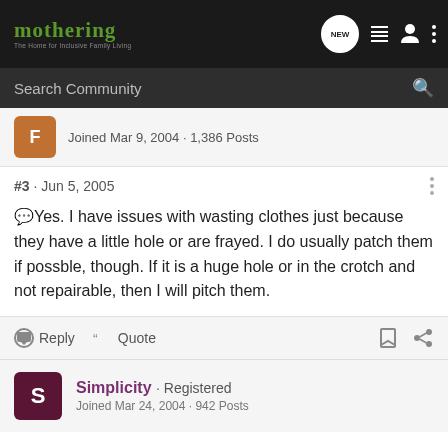[Figure (screenshot): Mothering community website navigation bar with logo, search bar, and icons]
Joined Mar 9, 2004 · 1,386 Posts
#3 · Jun 5, 2005
Yes. I have issues with wasting clothes just because they have a little hole or are frayed. I do usually patch them if possble, though. If it is a huge hole or in the crotch and not repairable, then I will pitch them.
Reply   Quote
Simplicity · Registered
Joined Mar 24, 2004 · 942 Posts